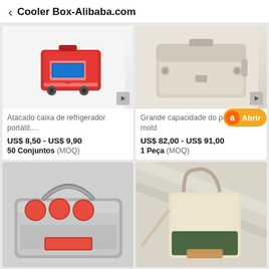Cooler Box-Alibaba.com
[Figure (photo): Red portable cooler box with wheels on white background]
Atacado caixa de refrigerador portátil,...
US$ 8,50 - US$ 9,90
50 Conjuntos (MOQ)
[Figure (photo): Beige/cream large capacity chest ice mold cooler on white background]
Grande capacidade do peito do gelo mold...
US$ 82,00 - US$ 91,00
1 Peça (MOQ)
[Figure (photo): Silver metallic beer can cooler carrier with cans and ice]
[Figure (photo): Canvas tote cooler bag with shoulder strap, tan/green colors]